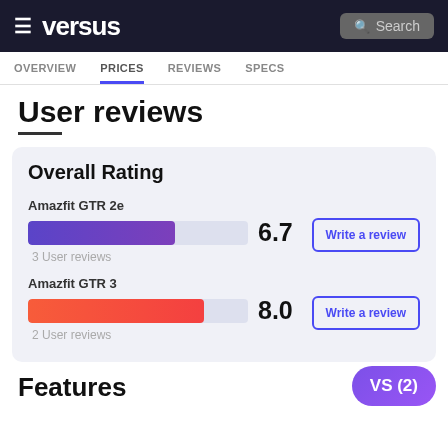versus | Search
OVERVIEW  PRICES  REVIEWS  SPECS
User reviews
Overall Rating
Amazfit GTR 2e
[Figure (bar-chart): Amazfit GTR 2e Rating]
3 User reviews
Amazfit GTR 3
[Figure (bar-chart): Amazfit GTR 3 Rating]
2 User reviews
Features